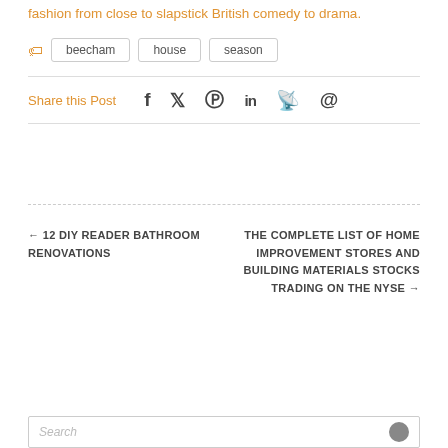fashion from close to slapstick British comedy to drama.
beecham
house
season
Share this Post
← 12 DIY READER BATHROOM RENOVATIONS
THE COMPLETE LIST OF HOME IMPROVEMENT STORES AND BUILDING MATERIALS STOCKS TRADING ON THE NYSE →
Search